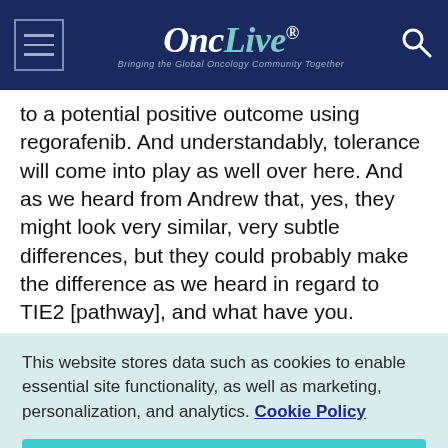OncLive® — Bringing the Global Oncology Community Together
to a potential positive outcome using regorafenib. And understandably, tolerance will come into play as well over here. And as we heard from Andrew that, yes, they might look very similar, very subtle differences, but they could probably make the difference as we heard in regard to TIE2 [pathway], and what have you.
This website stores data such as cookies to enable essential site functionality, as well as marketing, personalization, and analytics. Cookie Policy
Accept
Deny